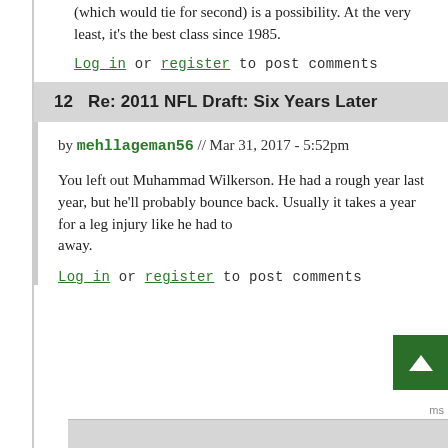(which would tie for second) is a possibility. At the very least, it's the best class since 1985.
Log in or register to post comments
12   Re: 2011 NFL Draft: Six Years Later
by mehllageman56 // Mar 31, 2017 - 5:52pm
You left out Muhammad Wilkerson. He had a rough year last year, but he'll probably bounce back. Usually it takes a year for a leg injury like he had to away.
Log in or register to post comments